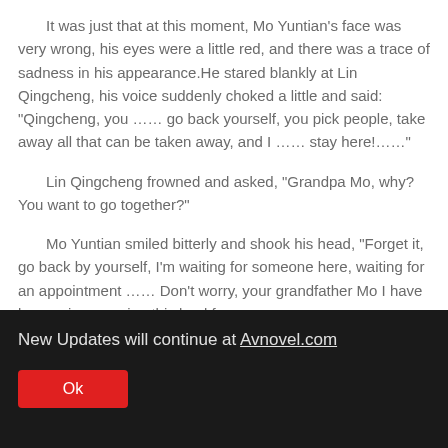It was just that at this moment, Mo Yuntian's face was very wrong, his eyes were a little red, and there was a trace of sadness in his appearance.He stared blankly at Lin Qingcheng, his voice suddenly choked a little and said: "Qingcheng, you …… go back yourself, you pick people, take away all that can be taken away, and I …… stay here!……"
Lin Qingcheng frowned and asked, "Grandpa Mo, why? You want to go together?"
Mo Yuntian smiled bitterly and shook his head, "Forget it, go back by yourself, I'm waiting for someone here, waiting for an appointment …… Don't worry, your grandfather Mo I have been criss-crossing this land for many years, you
New Updates will continue at Avnovel.com
Ok